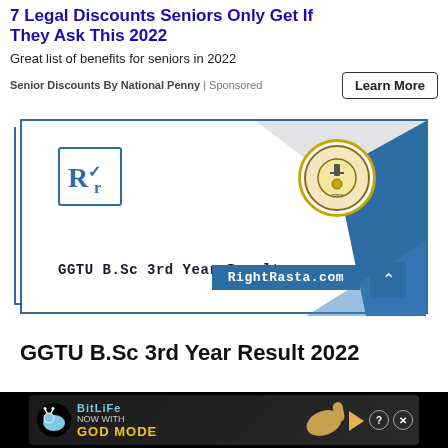7 Legal Discounts Seniors Only Get If They Ask This 2022
Great list of benefits for seniors in 2022
Senior Discounts By National Penny | Sponsored
[Figure (screenshot): GGTU B.Sc 3rd Year Result promotional image with RVR logo, university circular badge, teal geometric shapes, and RightRasta.com watermark]
GGTU B.Sc 3rd Year Result 2022
[Figure (screenshot): BitLife mobile game advertisement — NOW WITH GOD MODE banner on black background with cartoon hand pointing]